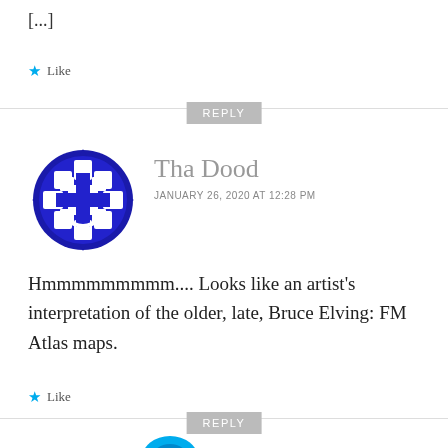[...]
Like
REPLY
[Figure (illustration): Blue globe/grid icon avatar for user Tha Dood]
Tha Dood
JANUARY 26, 2020 AT 12:28 PM
Hmmmmmmmmm.... Looks like an artist's interpretation of the older, late, Bruce Elving: FM Atlas maps.
Like
REPLY